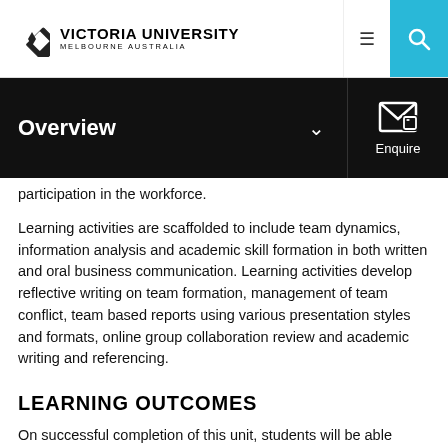VICTORIA UNIVERSITY MELBOURNE AUSTRALIA
Overview
participation in the workforce.
Learning activities are scaffolded to include team dynamics, information analysis and academic skill formation in both written and oral business communication. Learning activities develop reflective writing on team formation, management of team conflict, team based reports using various presentation styles and formats, online group collaboration review and academic writing and referencing.
LEARNING OUTCOMES
On successful completion of this unit, students will be able